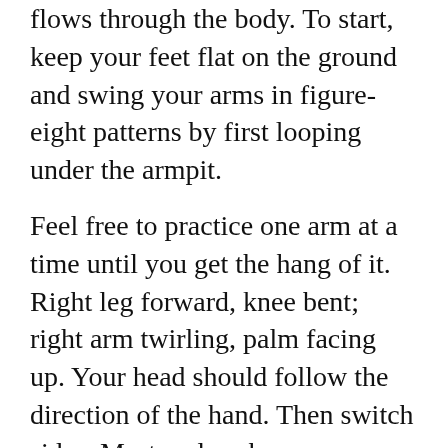flows through the body. To start, keep your feet flat on the ground and swing your arms in figure-eight patterns by first looping under the armpit.
Feel free to practice one arm at a time until you get the hang of it. Right leg forward, knee bent; right arm twirling, palm facing up. Your head should follow the direction of the hand. Then switch sides. Mastered each arm individually and together? Try it backwards.
3. Mindfully drink tea